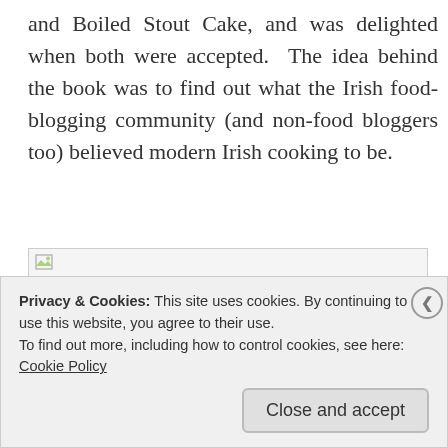and Boiled Stout Cake, and was delighted when both were accepted. The idea behind the book was to find out what the Irish food-blogging community (and non-food bloggers too) believed modern Irish cooking to be.
[Figure (photo): Broken/unloaded image placeholder with small image icon in top-left corner]
Privacy & Cookies: This site uses cookies. By continuing to use this website, you agree to their use.
To find out more, including how to control cookies, see here:
Cookie Policy
Close and accept